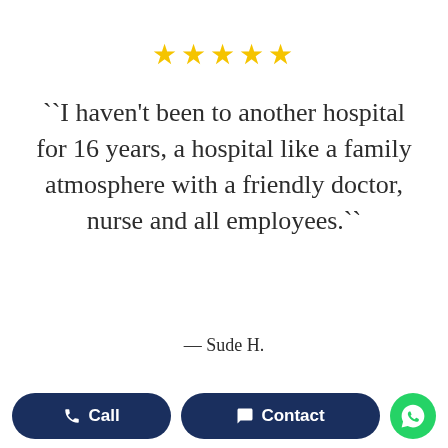[Figure (other): Five gold star rating icons]
``I haven't been to another hospital for 16 years, a hospital like a family atmosphere with a friendly doctor, nurse and all employees.``
— Sude H.
[Figure (other): Three pagination dots, first dot active (dark), second and third dots grey]
[Figure (other): Bottom navigation bar with Call button, Contact button, and WhatsApp circular button]